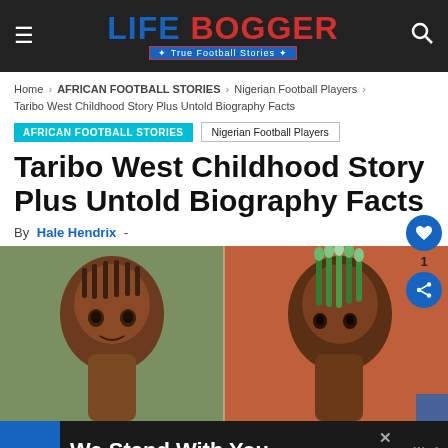LifeBogger - True Football Stories
Home › AFRICAN FOOTBALL STORIES › Nigerian Football Players › Taribo West Childhood Story Plus Untold Biography Facts
AFRICAN FOOTBALL STORIES  Nigerian Football Players
Taribo West Childhood Story Plus Untold Biography Facts
By Hale Hendrix -
[Figure (photo): Two photos of Taribo West side by side: left shows him with braided dreadlocks in a natural outdoor setting; right shows him with distinctive green-tipped dreadlocks in a sports context]
We Stand With You